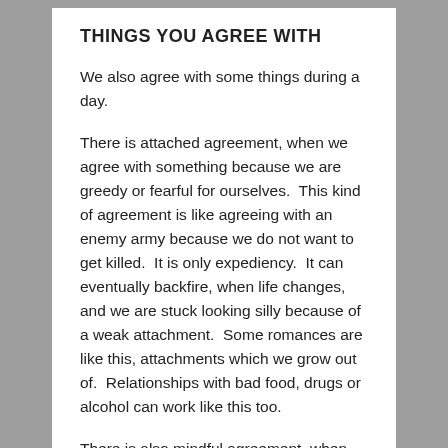THINGS YOU AGREE WITH
We also agree with some things during a day.
There is attached agreement, when we agree with something because we are greedy or fearful for ourselves.  This kind of agreement is like agreeing with an enemy army because we do not want to get killed.  It is only expediency.  It can eventually backfire, when life changes, and we are stuck looking silly because of a weak attachment.  Some romances are like this, attachments which we grow out of.  Relationships with bad food, drugs or alcohol can work like this too.
There is also mindful agreement, when we notice that something we see or hear is good.  This is